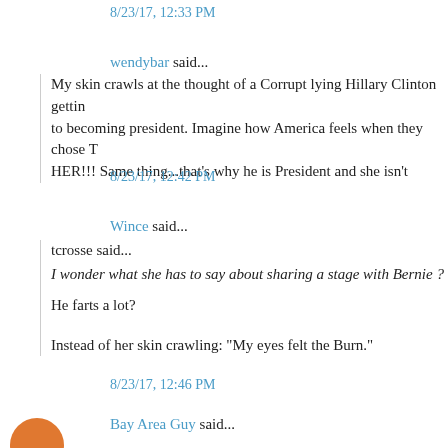8/23/17, 12:33 PM
wendybar said...
My skin crawls at the thought of a Corrupt lying Hillary Clinton getting to becoming president. Imagine how America feels when they chose T HER!!! Same thing...that's why he is President and she isn't
8/23/17, 12:42 PM
Wince said...
tcrosse said...
I wonder what she has to say about sharing a stage with Bernie ?
He farts a lot?
Instead of her skin crawling: "My eyes felt the Burn."
8/23/17, 12:46 PM
Bay Area Guy said...